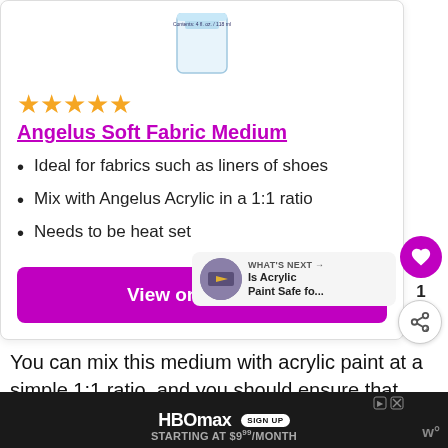[Figure (photo): Product image of Angelus Soft Fabric Medium bottle, partially cropped at top]
★★★★★
Angelus Soft Fabric Medium
Ideal for fabrics such as liners of shoes
Mix with Angelus Acrylic in a 1:1 ratio
Needs to be heat set
View on Amazon
[Figure (screenshot): What's Next panel showing 'Is Acrylic Paint Safe fo...' with circular thumbnail]
You can mix this medium with acrylic paint at a simple 1:1 ratio, and you should ensure that you al... co... urface
[Figure (screenshot): HBO Max advertisement banner - STARTING AT $9.99/MONTH with SIGN UP badge]